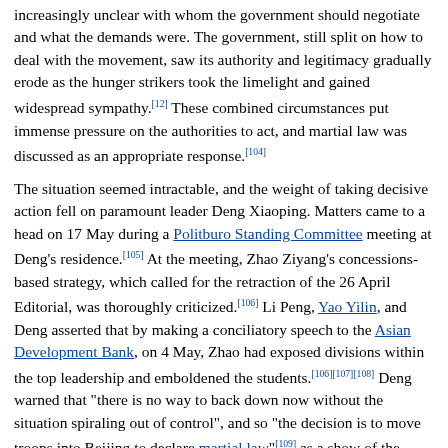increasingly unclear with whom the government should negotiate and what the demands were. The government, still split on how to deal with the movement, saw its authority and legitimacy gradually erode as the hunger strikers took the limelight and gained widespread sympathy.[12] These combined circumstances put immense pressure on the authorities to act, and martial law was discussed as an appropriate response.[104]
The situation seemed intractable, and the weight of taking decisive action fell on paramount leader Deng Xiaoping. Matters came to a head on 17 May during a Politburo Standing Committee meeting at Deng's residence.[105] At the meeting, Zhao Ziyang's concessions-based strategy, which called for the retraction of the 26 April Editorial, was thoroughly criticized.[106] Li Peng, Yao Yilin, and Deng asserted that by making a conciliatory speech to the Asian Development Bank, on 4 May, Zhao had exposed divisions within the top leadership and emboldened the students.[106][107][108] Deng warned that "there is no way to back down now without the situation spiraling out of control", and so "the decision is to move troops into Beijing to declare martial law"[109] as a show of the government's no-tolerance stance.[106] To justify martial law, the demonstrators were described as tools of "bourgeois liberalism" advocates who were pulling strings behind the scenes, as well as tools of elements within the party who wished to further their